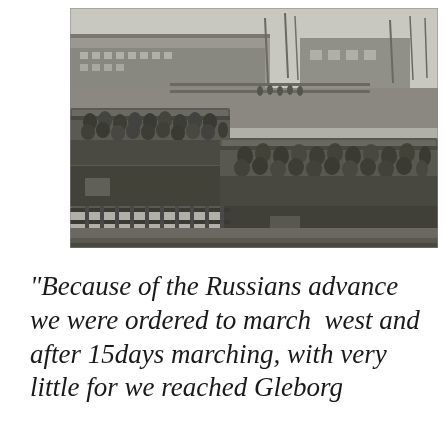[Figure (photo): Black and white historical photograph showing open freight train cars packed with large numbers of people (prisoners/soldiers), viewed from an elevated angle. Railroad tracks, industrial buildings, and a few figures standing in the background are visible. The scene appears to be from World War II era.]
“Because of the Russians advance we were ordered to march west and after 15days marching, with very little for we reached Gleborg